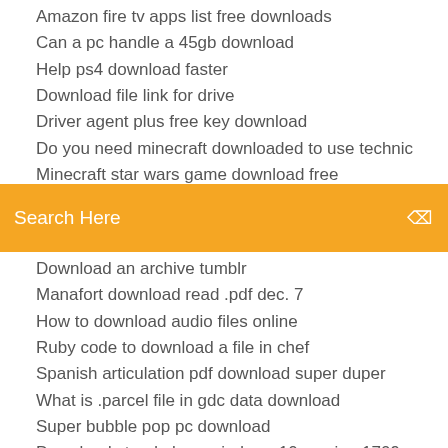Amazon fire tv apps list free downloads
Can a pc handle a 45gb download
Help ps4 download faster
Download file link for drive
Driver agent plus free key download
Do you need minecraft downloaded to use technic
Minecraft star wars game download free
[Figure (screenshot): Orange search bar with text 'Search Here' and a search icon on the right]
Download an archive tumblr
Manafort download read .pdf dec. 7
How to download audio files online
Ruby code to download a file in chef
Spanish articulation pdf download super duper
What is .parcel file in gdc data download
Super bubble pop pc download
Download stand alone windows 10 version 1709 update
Download serato sl4 driver
Where to download photoshop cs5 full version free